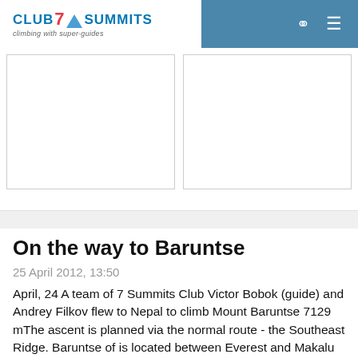CLUB 7 SUMMITS — climbing with super-guides
[Figure (photo): Two white rectangular image placeholders side by side]
On the way to Baruntse
25 April 2012, 13:50
April, 24 A team of 7 Summits Club Victor Bobok (guide) and Andrey Filkov flew to Nepal to climb Mount Baruntse 7129 mThe ascent is planned via the normal route - the Southeast Ridge. Baruntse of is located between Everest and Makalu … read more »